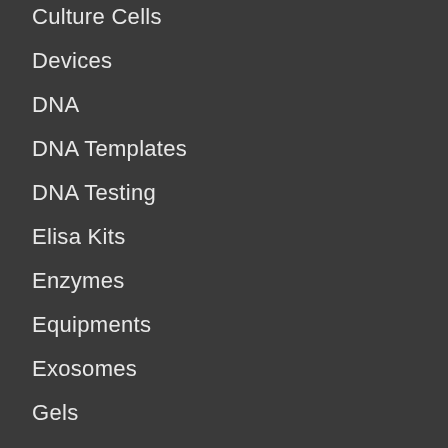Culture Cells
Devices
DNA
DNA Templates
DNA Testing
Elisa Kits
Enzymes
Equipments
Exosomes
Gels
Isotypes
Medium & Serums
NATtrol Panel